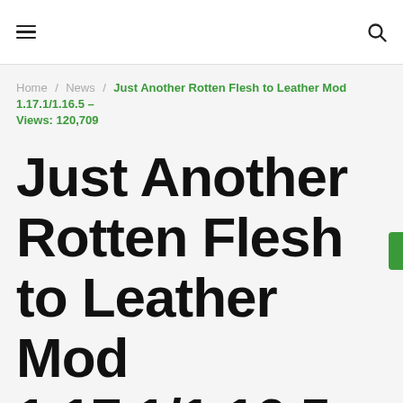≡  🔍
Home / News / Just Another Rotten Flesh to Leather Mod 1.17.1/1.16.5 – Views: 120,709
Just Another Rotten Flesh to Leather Mod 1.17.1/1.16.5 – Views: 120,709